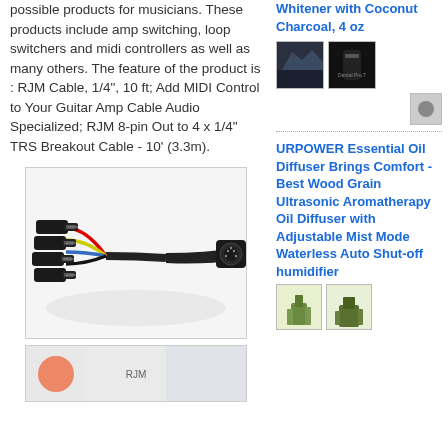possible products for musicians. These products include amp switching, loop switchers and midi controllers as well as many others. The feature of the product is : RJM Cable, 1/4", 10 ft; Add MIDI Control to Your Guitar Amp Cable Audio Specialized; RJM 8-pin Out to 4 x 1/4" TRS Breakout Cable - 10' (3.3m).
Whitener with Coconut Charcoal, 4 oz
[Figure (photo): Small product thumbnail images showing teeth whitener product]
[Figure (photo): Main product photo showing RJM MIDI breakout cable with colored wires (red, yellow, blue) and multiple 1/4 inch TRS jack connectors on one end and an 8-pin DIN connector on the other end]
URPOWER Essential Oil Diffuser Brings Comfort - Best Wood Grain Ultrasonic Aromatherapy Oil Diffuser with Adjustable Mist Mode Waterless Auto Shut-off humidifier
[Figure (photo): Bottom thumbnail images showing essential oil diffuser product]
[Figure (photo): Partial bottom image strip showing another RJM product]